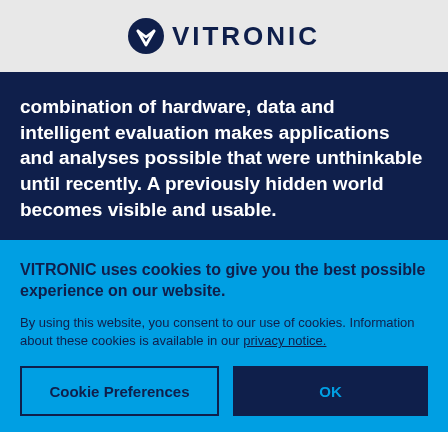[Figure (logo): VITRONIC logo with chevron/shield icon and company name in dark navy blue]
combination of hardware, data and intelligent evaluation makes applications and analyses possible that were unthinkable until recently. A previously hidden world becomes visible and usable.
VITRONIC uses cookies to give you the best possible experience on our website.
By using this website, you consent to our use of cookies. Information about these cookies is available in our privacy notice.
Cookie Preferences
OK